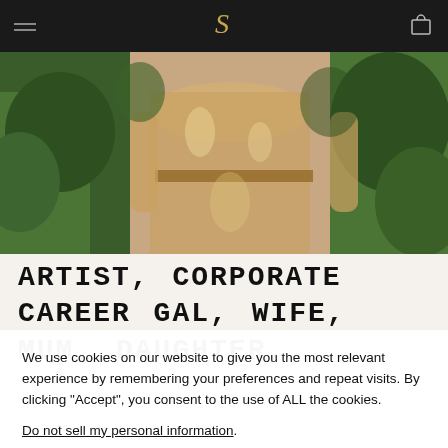Navigation bar with hamburger menu, S logo, and cart icon
[Figure (photo): Person wearing an ornate gold/beige sequined dress with floral pattern, standing outdoors among green trees]
ARTIST, CORPORATE CAREER GAL, WIFE, MUM, DAUGHTER,
We use cookies on our website to give you the most relevant experience by remembering your preferences and repeat visits. By clicking “Accept”, you consent to the use of ALL the cookies.
Do not sell my personal information.